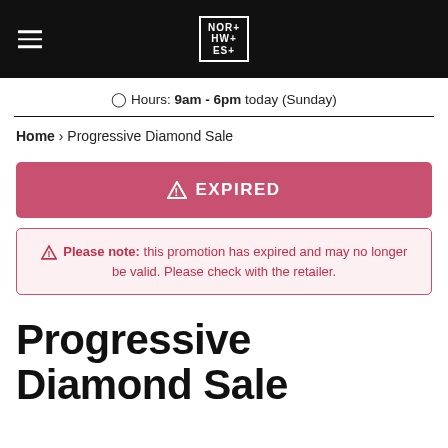NOR+HW+ES+ (Northwest logo with hamburger menu)
Hours: 9am - 6pm today (Sunday)
Home › Progressive Diamond Sale
⚠ EXPIRED
⚠ Please note: this promotion has expired and may no longer be valid. Please check with the retailer.
Progressive Diamond Sale